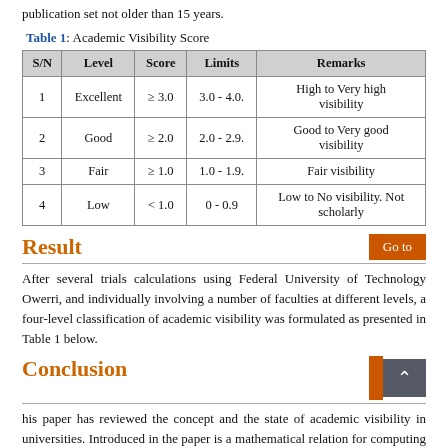publication set not older than 15 years.
Table 1: Academic Visibility Score
| S/N | Level | Score | Limits | Remarks |
| --- | --- | --- | --- | --- |
| 1 | Excellent | ≥ 3.0 | 3.0 - 4.0. | High to Very high visibility |
| 2 | Good | ≥ 2.0 | 2.0 - 2.9. | Good to Very good visibility |
| 3 | Fair | ≥ 1.0 | 1.0 - 1.9. | Fair visibility |
| 4 | Low | < 1.0 | 0 - 0.9 | Low to No visibility. Not scholarly |
Result
After several trials calculations using Federal University of Technology Owerri, and individually involving a number of faculties at different levels, a four-level classification of academic visibility was formulated as presented in Table 1 below.
Conclusion
his paper has reviewed the concept and the state of academic visibility in universities. Introduced in the paper is a mathematical relation for computing academic visibility of individual faculty and that of university. This new mathematical model, unlike the